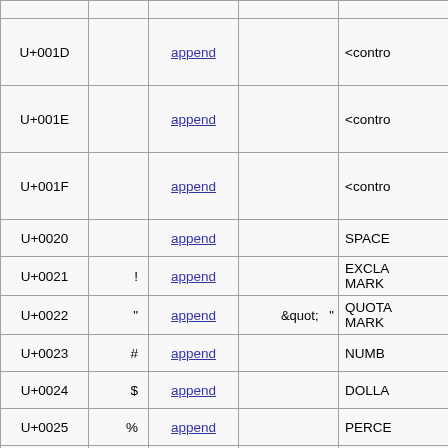| Code | Glyph | Link | HTML Entity | Name |
| --- | --- | --- | --- | --- |
| U+001D |  | append |  | <contro |
| U+001E |  | append |  | <contro |
| U+001F |  | append |  | <contro |
| U+0020 |  | append |  | SPACE |
| U+0021 | ! | append |  | EXCLA MARK |
| U+0022 | " | append | &quot;  " | QUOTA MARK |
| U+0023 | # | append |  | NUMB |
| U+0024 | $ | append |  | DOLLA |
| U+0025 | % | append |  | PERCE |
| U+0026 | & | append | &amp;  & | AMPER |
| U+0027 | ' | append |  | APOST |
| U+0028 | ( | append |  | LEFT PAREN |